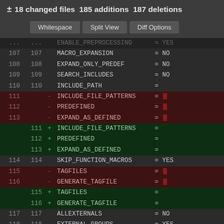± 18 changed files  185 additions  187 deletions
Whitespace | Split View | Diff Options
| old | new | sign | key | value |
| --- | --- | --- | --- | --- |
| 107 | 107 |  | MACRO_EXPANSION | = NO |
| 108 | 108 |  | EXPAND_ONLY_PREDEF | = NO |
| 109 | 109 |  | SEARCH_INCLUDES | = NO |
| 110 | 110 |  | INCLUDE_PATH | = |
| 111 |  | - | INCLUDE_FILE_PATTERNS | = |
| 112 |  | - | PREDEFINED | = |
| 113 |  | - | EXPAND_AS_DEFINED | = |
|  | 111 | + | INCLUDE_FILE_PATTERNS | = |
|  | 112 | + | PREDEFINED | = |
|  | 113 | + | EXPAND_AS_DEFINED | = |
| 114 | 114 |  | SKIP_FUNCTION_MACROS | = YES |
| 115 |  | - | TAGFILES | = |
| 116 |  | - | GENERATE_TAGFILE | = |
|  | 115 | + | TAGFILES | = |
|  | 116 | + | GENERATE_TAGFILE | = |
| 117 | 117 |  | ALLEXTERNALS | = NO |
| 118 | 118 |  | EXTERNAL_GROUPS | = YES |
| 119 | 119 |  | PERL_PATH | = /usr/bin/perl |